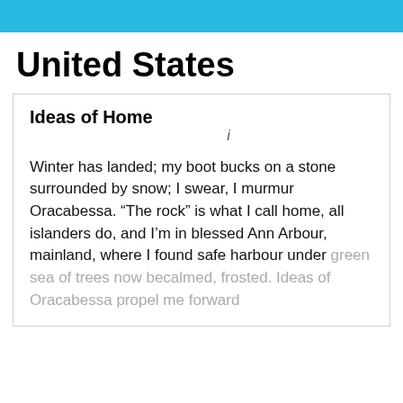United States
Ideas of Home
i
Winter has landed; my boot bucks on a stone surrounded by snow; I swear, I murmur Oracabessa. “The rock” is what I call home, all islanders do, and I’m in blessed Ann Arbour, mainland, where I found safe harbour under green sea of trees now becalmed, frosted. Ideas of Oracabessa propel me forward